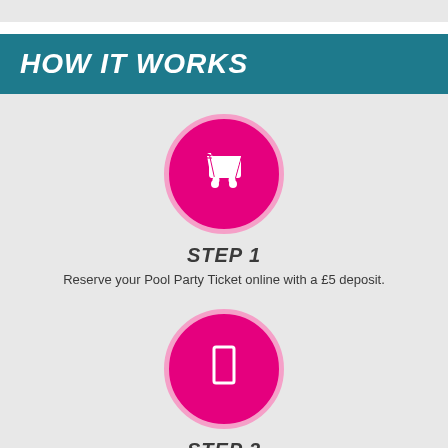HOW IT WORKS
[Figure (infographic): Pink circle with white shopping cart icon representing Step 1]
STEP 1
Reserve your Pool Party Ticket online with a £5 deposit.
[Figure (infographic): Pink circle with white ticket/door icon representing Step 2]
STEP 2